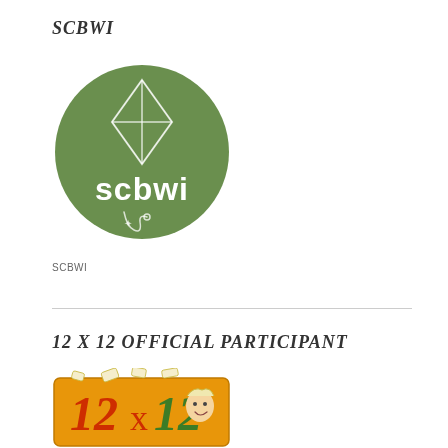SCBWI
[Figure (logo): SCBWI circular green logo with kite illustration and 'scbwi' text in white]
SCBWI
12 X 12 OFFICIAL PARTICIPANT
[Figure (illustration): 12 X 12 Official Participant badge illustration with cartoon character and colorful numbers on orange background]